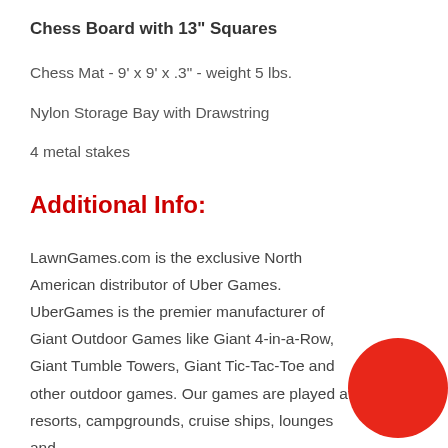Chess Board with 13" Squares
Chess Mat - 9' x 9' x .3" - weight 5 lbs.
Nylon Storage Bay with Drawstring
4 metal stakes
Additional Info:
LawnGames.com is the exclusive North American distributor of Uber Games. UberGames is the premier manufacturer of Giant Outdoor Games like Giant 4-in-a-Row, Giant Tumble Towers, Giant Tic-Tac-Toe and other outdoor games. Our games are played at resorts, campgrounds, cruise ships, lounges and